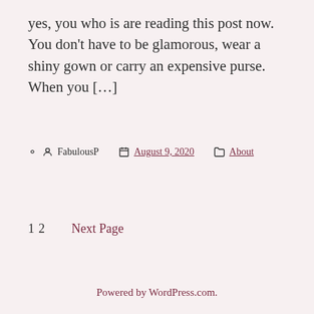yes, you who is are reading this post now. You don't have to be glamorous, wear a shiny gown or carry an expensive purse. When you […]
FabulousP   August 9, 2020   About
1 2   Next Page
Powered by WordPress.com.